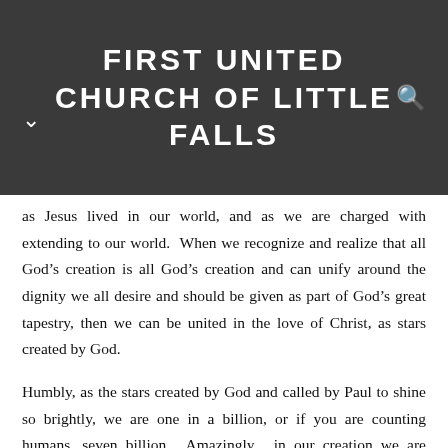FIRST UNITED CHURCH OF LITTLE FALLS
as Jesus lived in our world, and as we are charged with extending to our world. When we recognize and realize that all God’s creation is all God’s creation and can unify around the dignity we all desire and should be given as part of God’s great tapestry, then we can be united in the love of Christ, as stars created by God.
Humbly, as the stars created by God and called by Paul to shine so brightly, we are one in a billion, or if you are counting humans, seven billion. Amazingly, in our creation we are infinitesimally ourselves, and yet also part of this great collective called creation. But more so, when we combine this realization of both how great and how small we are, with the instruction to